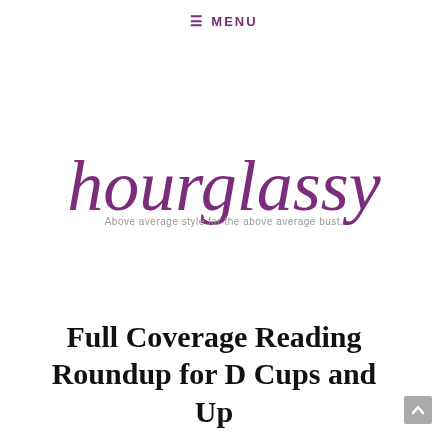≡ MENU
[Figure (logo): Hourglassy logo — cursive purple text reading 'hourglassy' with tagline 'Above average style for the above average bust.']
Full Coverage Reading Roundup for D Cups and Up